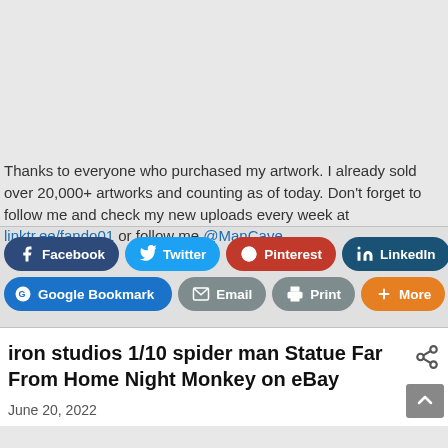Thanks to everyone who purchased my artwork. I already sold over 20,000+ artworks and counting as of today. Don't forget to follow me and check my new uploads every week at linktr.ee/fando01 or follow me @ManCave
[Figure (infographic): Social share buttons row: Facebook, Twitter, Pinterest, LinkedIn, Google Bookmark, Email, Print, More]
iron studios 1/10 spider man Statue Far From Home Night Monkey on eBay
June 20, 2022